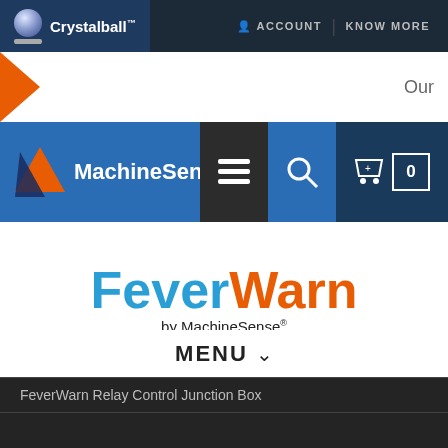[Figure (logo): Crystalball logo with globe icon and trademark symbol in dark navy header bar]
ACCOUNT | KNOW MORE
[Figure (logo): Orange right-pointing arrow on white bar with partial text 'Our']
[Figure (logo): MachineSense logo with triangle icon on blue bar, with menu, search, and cart icons]
[Figure (logo): FeverWarn by MachineSense logo - FeverWarn in blue and orange]
MENU
FeverWarn Relay Control Junction Box
FeverWarn FW-FS-250 Stand
FeverWarn for School
Power Quality in Buildings